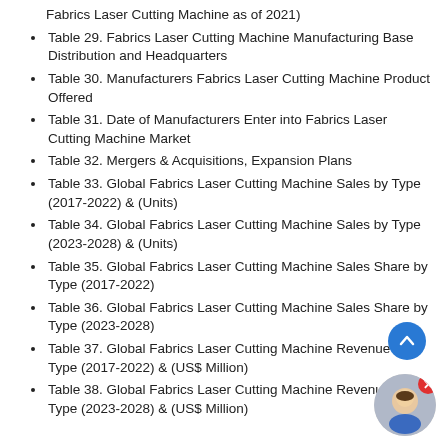Fabrics Laser Cutting Machine as of 2021)
Table 29. Fabrics Laser Cutting Machine Manufacturing Base Distribution and Headquarters
Table 30. Manufacturers Fabrics Laser Cutting Machine Product Offered
Table 31. Date of Manufacturers Enter into Fabrics Laser Cutting Machine Market
Table 32. Mergers & Acquisitions, Expansion Plans
Table 33. Global Fabrics Laser Cutting Machine Sales by Type (2017-2022) & (Units)
Table 34. Global Fabrics Laser Cutting Machine Sales by Type (2023-2028) & (Units)
Table 35. Global Fabrics Laser Cutting Machine Sales Share by Type (2017-2022)
Table 36. Global Fabrics Laser Cutting Machine Sales Share by Type (2023-2028)
Table 37. Global Fabrics Laser Cutting Machine Revenue by Type (2017-2022) & (US$ Million)
Table 38. Global Fabrics Laser Cutting Machine Revenue by Type (2023-2028) & (US$ Million)